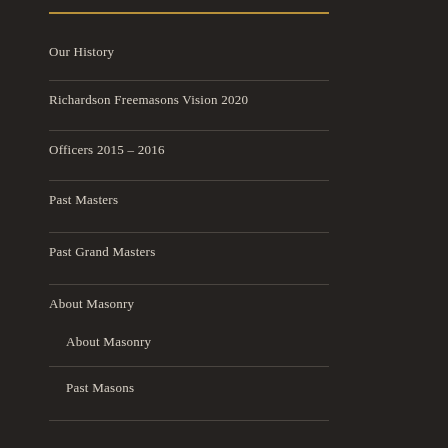Our History
Richardson Freemasons Vision 2020
Officers 2015 – 2016
Past Masters
Past Grand Masters
About Masonry
About Masonry
Past Masons